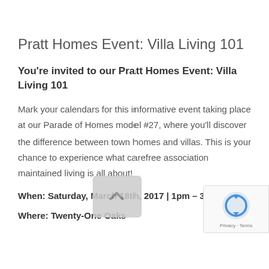Pratt Homes Event: Villa Living 101
You're invited to our Pratt Homes Event: Villa Living 101
Mark your calendars for this informative event taking place at our Parade of Homes model #27, where you'll discover the difference between town homes and villas. This is your chance to experience what carefree association maintained living is all about!
When: Saturday, March 18th, 2017 | 1pm – 3pm
Where: Twenty-One Oaks